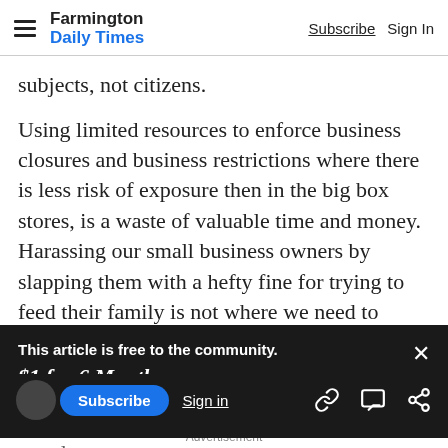Farmington Daily Times — Subscribe   Sign In
subjects, not citizens.
Using limited resources to enforce business closures and business restrictions where there is less risk of exposure then in the big box stores, is a waste of valuable time and money. Harassing our small business owners by slapping them with a hefty fine for trying to feed their family is not where we need to focus our efforts.
This article is free to the community.
$1 for 6 Months.
Subscribe now
people.
Subscribe   Sign in   Advertisement